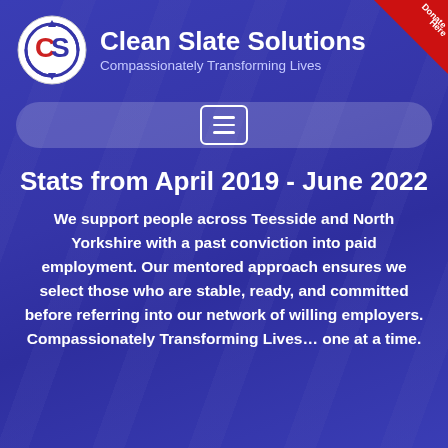[Figure (logo): Clean Slate Solutions circular logo with CS letters, white circle with red C and S, arrows around it]
Clean Slate Solutions
Compassionately Transforming Lives
[Figure (other): Red donate here corner ribbon in top-right corner]
[Figure (other): Navigation hamburger menu button on blue pill-shaped bar]
Stats from April 2019 - June 2022
We support people across Teesside and North Yorkshire with a past conviction into paid employment. Our mentored approach ensures we select those who are stable, ready, and committed before referring into our network of willing employers. Compassionately Transforming Lives… one at a time.